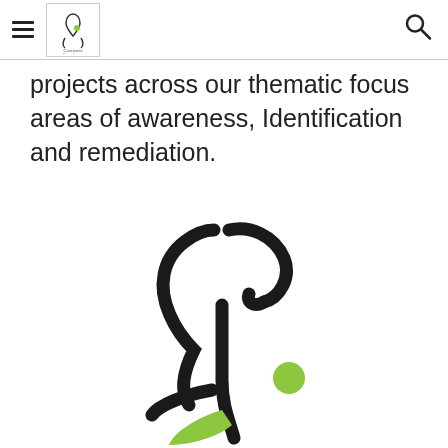[hamburger menu] [logo] [search icon]
projects across our thematic focus areas of awareness, Identification and remediation.
[Figure (logo): Large stylized butterfly/firefly logo mark in black and lime green, with curved antenna shapes and a green dot, partially cropped at bottom of page.]